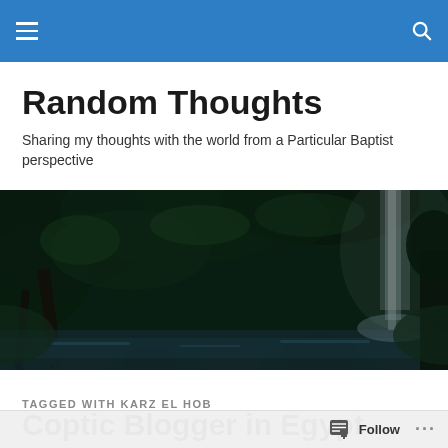Navigation bar with hamburger menu and search icon
Random Thoughts
Sharing my thoughts with the world from a Particular Baptist perspective
[Figure (photo): A dark, lush forest scene with green ferns and foliage, a stream with rocks, and a waterfall visible in the background on the right side.]
TAGGED WITH KARZ EL HOB
Coptic Blogger in Egypt Threatens Hunger St...
Follow ...